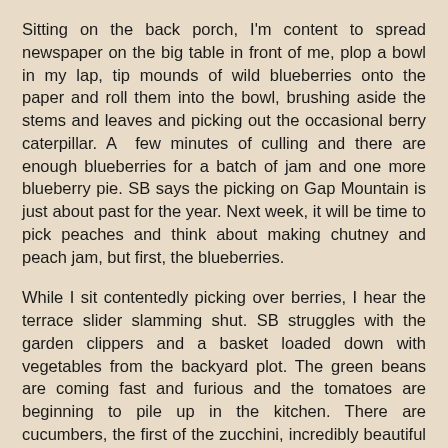Sitting on the back porch, I'm content to spread newspaper on the big table in front of me, plop a bowl in my lap, tip mounds of wild blueberries onto the paper and roll them into the bowl, brushing aside the stems and leaves and picking out the occasional berry caterpillar. A  few minutes of culling and there are enough blueberries for a batch of jam and one more blueberry pie. SB says the picking on Gap Mountain is just about past for the year. Next week, it will be time to pick peaches and think about making chutney and peach jam, but first, the blueberries.
While I sit contentedly picking over berries, I hear the terrace slider slamming shut. SB struggles with the garden clippers and a basket loaded down with vegetables from the backyard plot. The green beans are coming fast and furious and the tomatoes are beginning to pile up in the kitchen. There are cucumbers, the first of the zucchini, incredibly beautiful Swiss chard, the ever-present kale, and the first digging of  yellow potatoes. The garden is groaning with produce and that means that I am trying to stay ahead of the